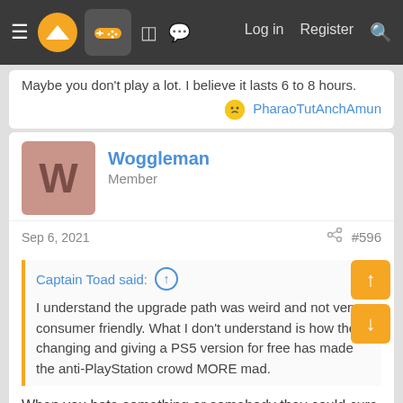Navigation bar with menu, logo, controller icon, forum icons, Log in, Register, Search
Maybe you don't play a lot. I believe it lasts 6 to 8 hours.
PharaoTutAnchAmun
Woggleman
Member
Sep 6, 2021   #596
Captain Toad said: ↑

I understand the upgrade path was weird and not very consumer friendly. What I don't understand is how them changing and giving a PS5 version for free has made the anti-PlayStation crowd MORE mad.
When you hate something or somebody they could cure cancer, aids and completely eliminate covid and somehow it would get spun into a negative.